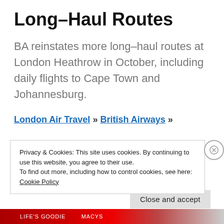Long–Haul Routes
BA reinstates more long–haul routes at London Heathrow in October, including daily flights to Cape Town and Johannesburg.
London Air Travel » British Airways »
Privacy & Cookies: This site uses cookies. By continuing to use this website, you agree to their use.
To find out more, including how to control cookies, see here: Cookie Policy
Close and accept